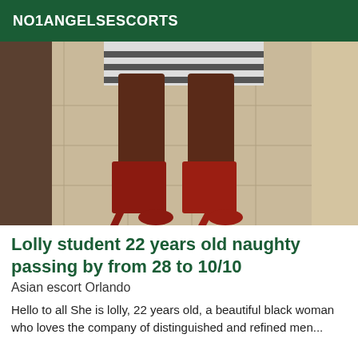NO1ANGELSESCORTS
[Figure (photo): Photo showing the lower body and legs of a person wearing red high-heel boots and a striped top, standing on tiled floor.]
Lolly student 22 years old naughty passing by from 28 to 10/10
Asian escort Orlando
Hello to all She is lolly, 22 years old, a beautiful black woman who loves the company of distinguished and refined men...